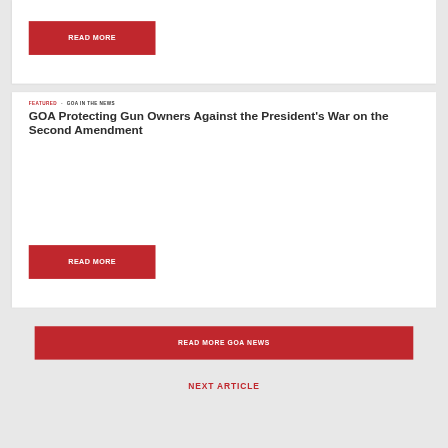READ MORE
FEATURED - GOA IN THE NEWS
GOA Protecting Gun Owners Against the President’s War on the Second Amendment
READ MORE
READ MORE GOA NEWS
NEXT ARTICLE